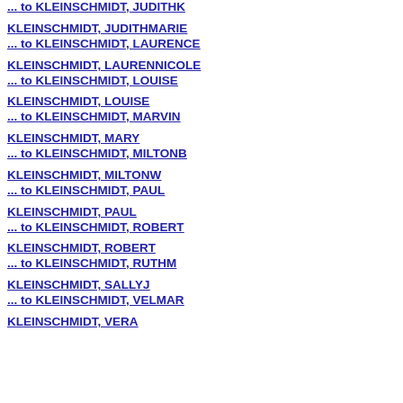... to KLEINSCHMIDT, JUDITHK
KLEINSCHMIDT, JUDITHMARIE
... to KLEINSCHMIDT, LAURENCE
KLEINSCHMIDT, LAURENNICOLE
... to KLEINSCHMIDT, LOUISE
KLEINSCHMIDT, LOUISE
... to KLEINSCHMIDT, MARVIN
KLEINSCHMIDT, MARY
... to KLEINSCHMIDT, MILTONB
KLEINSCHMIDT, MILTONW
... to KLEINSCHMIDT, PAUL
KLEINSCHMIDT, PAUL
... to KLEINSCHMIDT, ROBERT
KLEINSCHMIDT, ROBERT
... to KLEINSCHMIDT, RUTHM
KLEINSCHMIDT, SALLYJ
... to KLEINSCHMIDT, VELMAR
KLEINSCHMIDT, VERA